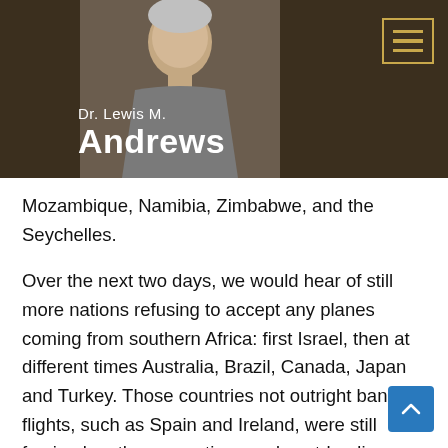[Figure (photo): Website header banner with dark brown background, photo of Dr. Lewis M. Andrews (older man in grey shirt), and a gold-bordered hamburger menu icon in the top right corner. Text overlay reads 'Dr. Lewis M. Andrews'.]
Mozambique, Namibia, Zimbabwe, and the Seychelles.
Over the next two days, we would hear of still more nations refusing to accept any planes coming from southern Africa: first Israel, then at different times Australia, Brazil, Canada, Japan and Turkey. Those countries not outright banning flights, such as Spain and Ireland, were still forcing lengthy quarantines and post-landing PCR tests on incoming passengers. The US was saying that its own citizens and legal residents could still return